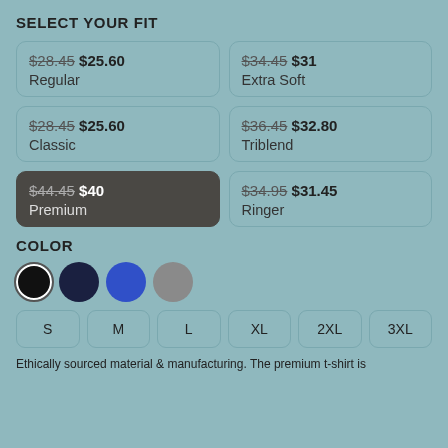SELECT YOUR FIT
$28.45 $25.60 Regular
$34.45 $31 Extra Soft
$28.45 $25.60 Classic
$36.45 $32.80 Triblend
$44.45 $40 Premium (selected)
$34.95 $31.45 Ringer
COLOR
[Figure (other): Four color swatches: black (selected with white border ring), navy, blue, gray]
S
M
L
XL
2XL
3XL
Ethically sourced material & manufacturing. The premium t-shirt is